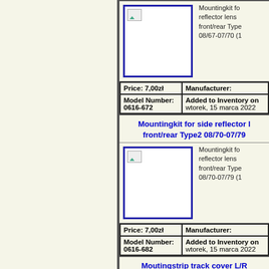[Figure (photo): Product image placeholder for Mountingkit for side reflector lens front/rear Type2 08/67-07/70]
Mountingkit for side reflector lens front/rear Type 08/67-07/70 (1...
| Price: 7,00zł | Manufacturer: |
| Model Number: 0616-672 | Added to Inventory on wtorek, 15 marca 2022 |
Mountingkit for side reflector lens front/rear Type2 08/70-07/79
[Figure (photo): Product image placeholder for Mountingkit for side reflector lens front/rear Type2 08/70-07/79]
Mountingkit for side reflector lens front/rear Type 08/70-07/79 (1...
| Price: 7,00zł | Manufacturer: |
| Model Number: 0616-682 | Added to Inventory on wtorek, 15 marca 2022 |
Moutingstrip track cover L/R...
[Figure (photo): Product image placeholder for Moutingstrip track cover L/R]